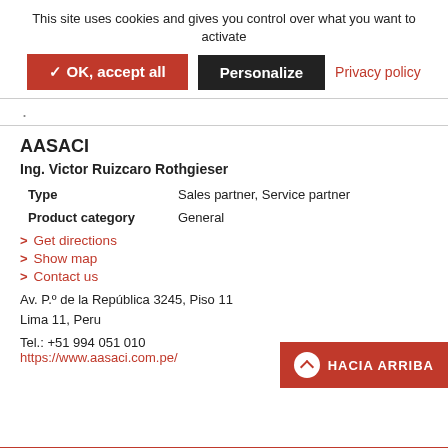This site uses cookies and gives you control over what you want to activate
✓ OK, accept all   Personalize   Privacy policy
.
AASACI
Ing. Victor Ruizcaro Rothgieser
|  |  |
| --- | --- |
| Type | Sales partner, Service partner |
| Product category | General |
> Get directions
> Show map
> Contact us
Av. P.º de la República 3245, Piso 11
Lima 11, Peru
Tel.: +51 994 051 010
https://www.aasaci.com.pe/